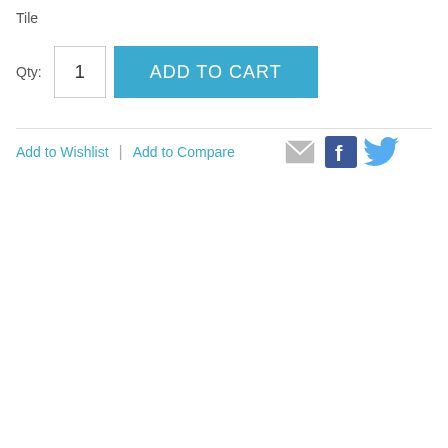Tile
Qty: 1  ADD TO CART
Add to Wishlist | Add to Compare